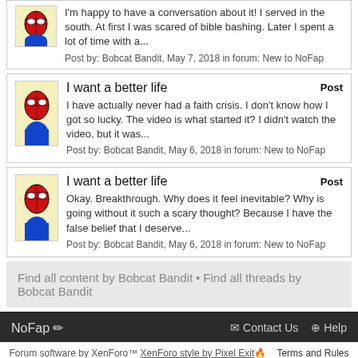I'm happy to have a conversation about it! I served in the south. At first I was scared of bible bashing. Later I spent a lot of time with a... Post by: Bobcat Bandit, May 7, 2018 in forum: New to NoFap
I want a better life | Post | I have actually never had a faith crisis. I don't know how I got so lucky. The video is what started it? I didn't watch the video, but it was... Post by: Bobcat Bandit, May 6, 2018 in forum: New to NoFap
I want a better life | Post | Okay. Breakthrough. Why does it feel inevitable? Why is going without it such a scary thought? Because I have the false belief that I deserve... Post by: Bobcat Bandit, May 6, 2018 in forum: New to NoFap
Find all content by Bobcat Bandit • Find all threads by Bobcat Bandit
NoFap ✏ | Contact Us | Help | Forum software by XenForo™ XenForo style by Pixel Exit 🔥 | Terms and Rules